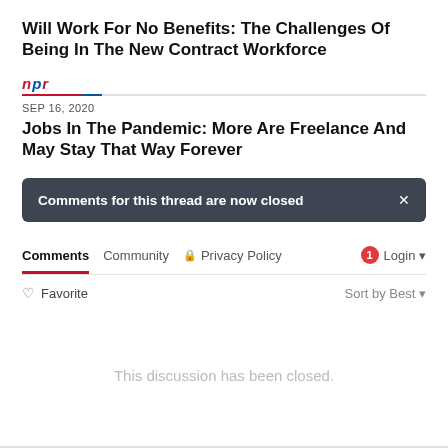Will Work For No Benefits: The Challenges Of Being In The New Contract Workforce
[Figure (logo): NPR logo with colored letters]
SEP 16, 2020
Jobs In The Pandemic: More Are Freelance And May Stay That Way Forever
Comments for this thread are now closed
Comments   Community   Privacy Policy   Login
Favorite   Sort by Best
This discussion has been closed.